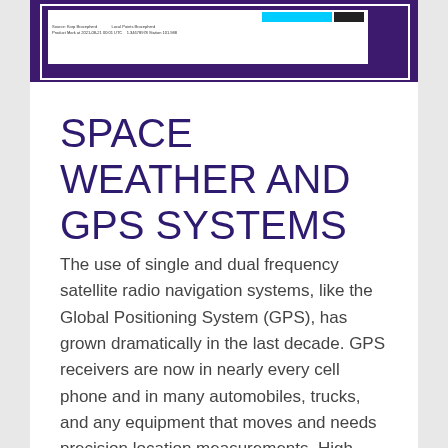[Figure (screenshot): Screenshot of a GPS/space weather software interface on a dark purple background, showing a white panel with cyan and dark colored blocks and small text rows.]
SPACE WEATHER AND GPS SYSTEMS
The use of single and dual frequency satellite radio navigation systems, like the Global Positioning System (GPS), has grown dramatically in the last decade. GPS receivers are now in nearly every cell phone and in many automobiles, trucks, and any equipment that moves and needs precision location measurements. High precision dual frequency GPS systems are used for farming, construction, exploration, surveying, snow